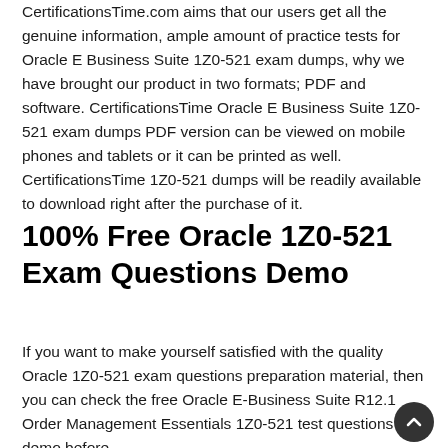CertificationsTime.com aims that our users get all the genuine information, ample amount of practice tests for Oracle E Business Suite 1Z0-521 exam dumps, why we have brought our product in two formats; PDF and software. CertificationsTime Oracle E Business Suite 1Z0-521 exam dumps PDF version can be viewed on mobile phones and tablets or it can be printed as well. CertificationsTime 1Z0-521 dumps will be readily available to download right after the purchase of it.
100% Free Oracle 1Z0-521 Exam Questions Demo
If you want to make yourself satisfied with the quality Oracle 1Z0-521 exam questions preparation material, then you can check the free Oracle E-Business Suite R12.1 Order Management Essentials 1Z0-521 test questions demo before